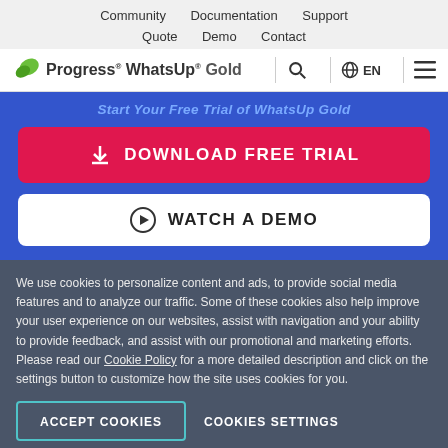Community  Documentation  Support  Quote  Demo  Contact
[Figure (logo): Progress WhatsUp Gold logo with green leaf icon, search icon, globe EN language selector, and hamburger menu]
Start Your Free Trial of WhatsUp Gold
[Figure (other): Red DOWNLOAD FREE TRIAL button with download icon]
[Figure (other): White WATCH A DEMO button with play icon]
We use cookies to personalize content and ads, to provide social media features and to analyze our traffic. Some of these cookies also help improve your user experience on our websites, assist with navigation and your ability to provide feedback, and assist with our promotional and marketing efforts. Please read our Cookie Policy for a more detailed description and click on the settings button to customize how the site uses cookies for you.
ACCEPT COOKIES
COOKIES SETTINGS